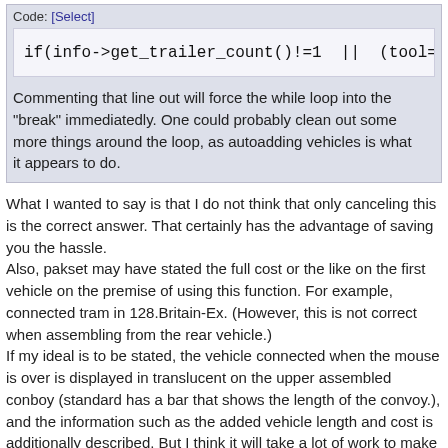Code: [Select]
if(info->get_trailer_count()!=1  ||  (tool=='i
Commenting that line out will force the while loop into the "break" immediatedly. One could probably clean out some more things around the loop, as autoadding vehicles is what it appears to do.
What I wanted to say is that I do not think that only canceling this is the correct answer. That certainly has the advantage of saving you the hassle.
Also, pakset may have stated the full cost or the like on the first vehicle on the premise of using this function. For example, connected tram in 128.Britain-Ex. (However, this is not correct when assembling from the rear vehicle.)
If my ideal is to be stated, the vehicle connected when the mouse is over is displayed in translucent on the upper assembled conboy (standard has a bar that shows the length of the convoy.), and the information such as the added vehicle length and cost is additionally described. But I think it will take a lot of work to make it.